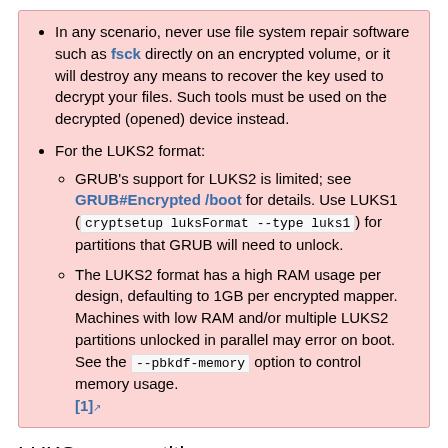In any scenario, never use file system repair software such as fsck directly on an encrypted volume, or it will destroy any means to recover the key used to decrypt your files. Such tools must be used on the decrypted (opened) device instead.
For the LUKS2 format:
GRUB's support for LUKS2 is limited; see GRUB#Encrypted /boot for details. Use LUKS1 ( cryptsetup luksFormat --type luks1 ) for partitions that GRUB will need to unlock.
The LUKS2 format has a high RAM usage per design, defaulting to 1GB per encrypted mapper. Machines with low RAM and/or multiple LUKS2 partitions unlocked in parallel may error on boot. See the --pbkdf-memory option to control memory usage. [1]
LUKS on a partition
This example covers a full system encryption with dm-crypt +